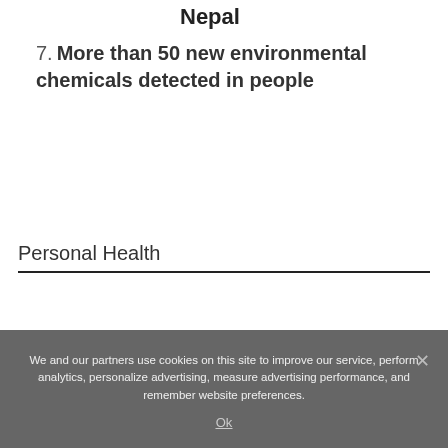Nepal
7. More than 50 new environmental chemicals detected in people
Personal Health
We and our partners use cookies on this site to improve our service, perform analytics, personalize advertising, measure advertising performance, and remember website preferences.
Ok